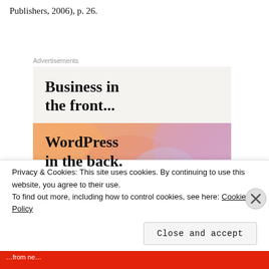Publishers, 2006), p. 26.
[Figure (advertisement): Advertisement block with two sections: top grey section reading 'Business in the front...' and bottom colorful gradient section reading 'WordPress in the back.' with decorative circles]
Privacy & Cookies: This site uses cookies. By continuing to use this website, you agree to their use.
To find out more, including how to control cookies, see here: Cookie Policy
Close and accept